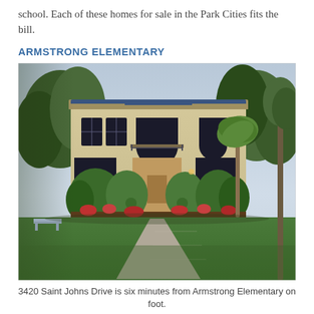school. Each of these homes for sale in the Park Cities fits the bill.
ARMSTRONG ELEMENTARY
[Figure (photo): Two-story Mediterranean/Spanish-style home with beige stucco exterior, arched doorways and windows, blue tile roof, manicured round shrubs, lush green lawn, and a stone walkway leading to the front entrance. Trees flank the house on both sides. Evening/dusk lighting.]
3420 Saint Johns Drive is six minutes from Armstrong Elementary on foot.